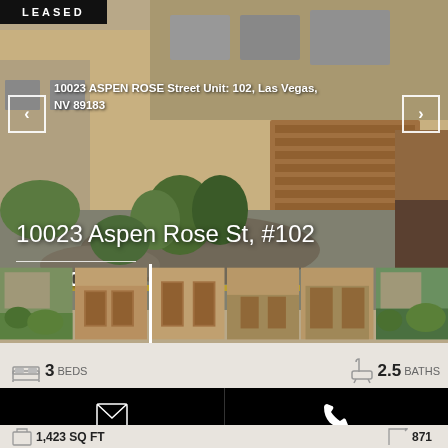[Figure (photo): Property photo of 10023 Aspen Rose St #102 in Las Vegas, showing exterior with landscaping, beige stucco building with garage door and greenery. Marked as LEASED.]
10023 ASPEN ROSE Street Unit: 102, Las Vegas, NV 89183
10023 Aspen Rose St, #102
$1,600/Mo
[Figure (photo): Thumbnail strip of 6 property photos showing exterior views of the property]
3 Bedrooms | 2.5 Bathrooms
1,423 SQ FT | 871